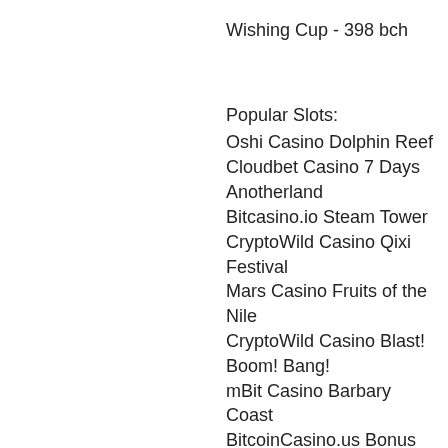Wishing Cup - 398 bch
Popular Slots:
Oshi Casino Dolphin Reef
Cloudbet Casino 7 Days Anotherland
Bitcasino.io Steam Tower
CryptoWild Casino Qixi Festival
Mars Casino Fruits of the Nile
CryptoWild Casino Blast! Boom! Bang!
mBit Casino Barbary Coast
BitcoinCasino.us Bonus Bears
Sportsbet.io Gladiator of Rome
Cloudbet Casino Crystal Ball Red Hot Firepot
Cloudbet Casino Wild Spartans
Betcoin.ag Casino Fortune Cookie
Betcoin.ag Casino Temple of Fortune
OneHash Mountain Song Quechua
BitcoinCasino.us Princess of Swamp